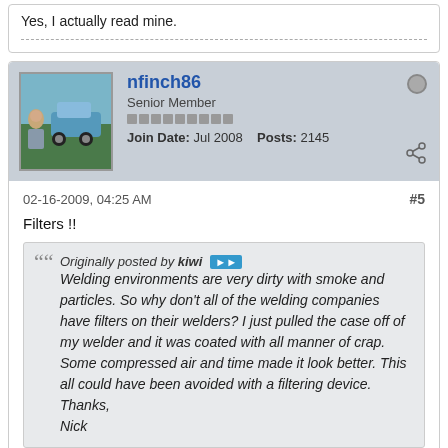Yes, I actually read mine.
nfinch86
Senior Member
Join Date: Jul 2008    Posts: 2145
02-16-2009, 04:25 AM
#5
Filters !!
Originally posted by kiwi
Welding environments are very dirty with smoke and particles. So why don't all of the welding companies have filters on their welders? I just pulled the case off of my welder and it was coated with all manner of crap. Some compressed air and time made it look better. This all could have been avoided with a filtering device.
Thanks,
Nick
Nick, Hello;
On My Welders I just use a thin layer of Cheese Cloth held on with Masking Tape!!